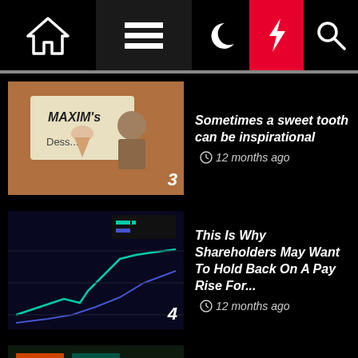Navigation bar with home, menu, dark mode, lightning, search icons
3 Sometimes a sweet tooth can be inspirational — 12 months ago
4 This Is Why Shareholders May Want To Hold Back On A Pay Rise For... — 12 months ago
5 Bullish International Business Machines Corporation (NYSE:IBM) insiders filled... — 12 months ago
printerhelpnumbers.co.uk WordPress Theme: Seek by ThemeInWP